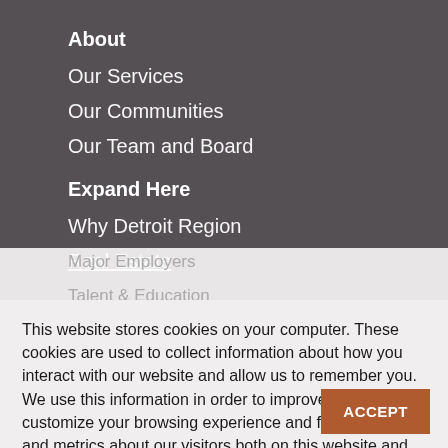About
Our Services
Our Communities
Our Team and Board
Expand Here
Why Detroit Region
Real Estate
Major Employers
Talent & Education
Transportation
Key Industries
Smart Manufacturing
Research, Engineering & Design
Digital Technology
This website stores cookies on your computer. These cookies are used to collect information about how you interact with our website and allow us to remember you. We use this information in order to improve and customize your browsing experience and for analytics and metrics about our visitors both on this website and other media. To find out more about the cookies we use, see our Privacy Policy.